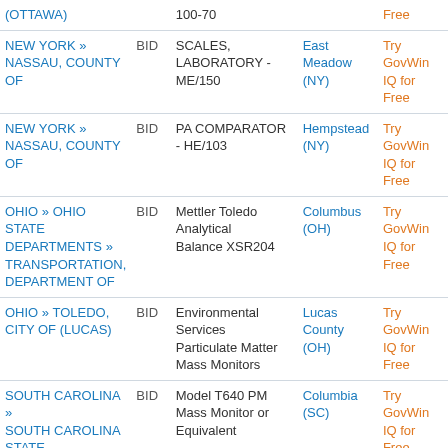| Agency | Type | Title | Location | Action |
| --- | --- | --- | --- | --- |
| (OTTAWA) |  | 100-70 |  | Free |
| NEW YORK » NASSAU, COUNTY OF | BID | SCALES, LABORATORY - ME/150 | East Meadow (NY) | Try GovWin IQ for Free |
| NEW YORK » NASSAU, COUNTY OF | BID | PA COMPARATOR - HE/103 | Hempstead (NY) | Try GovWin IQ for Free |
| OHIO » OHIO STATE DEPARTMENTS » TRANSPORTATION, DEPARTMENT OF | BID | Mettler Toledo Analytical Balance XSR204 | Columbus (OH) | Try GovWin IQ for Free |
| OHIO » TOLEDO, CITY OF (LUCAS) | BID | Environmental Services Particulate Matter Mass Monitors | Lucas County (OH) | Try GovWin IQ for Free |
| SOUTH CAROLINA » SOUTH CAROLINA STATE DEPARTMENTS » HEALTH AND ENVIRONMENTAL | BID | Model T640 PM Mass Monitor or Equivalent | Columbia (SC) | Try GovWin IQ for Free |